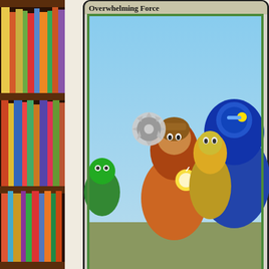[Figure (photo): Left portion: a tall bookshelf filled with colorful books, photographed against a warm cream background. Right portion (top): a Magic: The Gathering style card titled 'Overwhelming Force' showing anime-style robot/superhero characters, type 'Sorcery', with card text: 'Put a 0/1 green Leaf creature to with flying, a 1/1 green Frog creature token, and a 2/2 blue F creature token onto the battlefie'. Artist credit: Patrick Spaziante, number 146/216. Right portion (bottom): partial view of a second card showing a gold label 'LEAF' on a textured green background.]